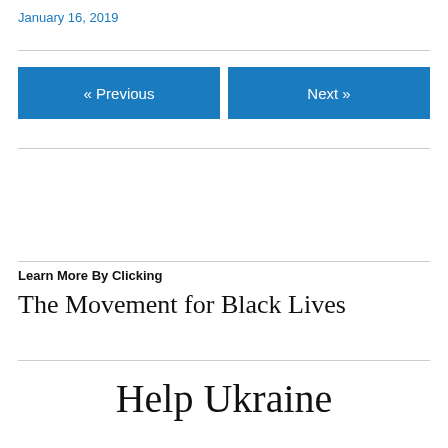January 16, 2019
« Previous
Next »
Learn More By Clicking
The Movement for Black Lives
Help Ukraine